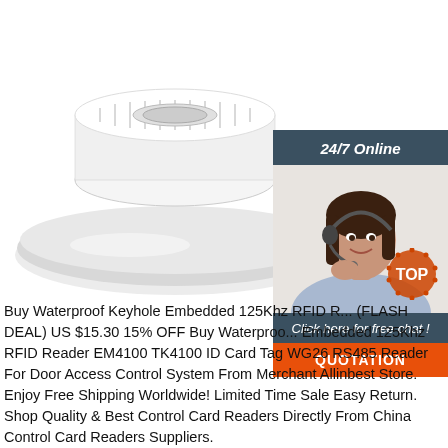[Figure (photo): A roll of white RFID label tags on a white holder/dispenser, photographed on white background. In the upper right corner is an online chat widget showing a female customer service agent wearing a headset, with '24/7 Online' header, 'Click here for free chat!' text, and an orange 'QUOTATION' button. A red/orange 'TOP' badge with dots is partially visible at lower right.]
Buy Waterproof Keyhole Embedded 125Khz RFID R... (FLASH DEAL) US $15.30 15% OFF Buy Waterproo... Embedded 125Khz RFID Reader EM4100 TK4100 ID Card Tag WG26 RS485 Reader For Door Access Control System From Merchant Allinbest Store. Enjoy Free Shipping Worldwide! Limited Time Sale Easy Return. Shop Quality & Best Control Card Readers Directly From China Control Card Readers Suppliers.